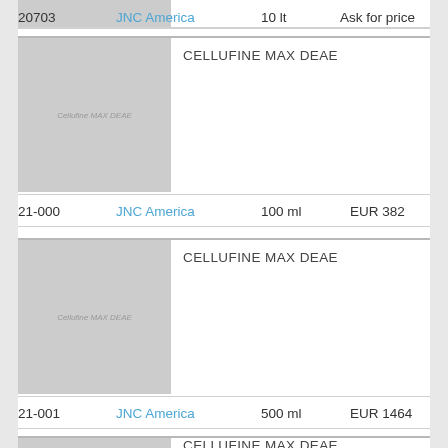[Figure (photo): Partial product image placeholder at top of page]
20703   JNC America   10 lt   Ask for price
[Figure (photo): Product image placeholder for CELLUFINE MAX DEAE]
CELLUFINE MAX DEAE
21-000   JNC America   100 ml   EUR 382
[Figure (photo): Product image placeholder for CELLUFINE MAX DEAE]
CELLUFINE MAX DEAE
21-001   JNC America   500 ml   EUR 1464
[Figure (photo): Partial product image placeholder for CELLUFINE MAX DEAE at bottom]
CELLUFINE MAX DEAE